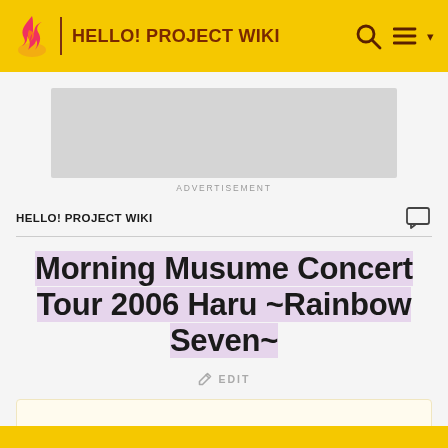HELLO! PROJECT WIKI
[Figure (screenshot): Advertisement placeholder block]
ADVERTISEMENT
HELLO! PROJECT WIKI
Morning Musume Concert Tour 2006 Haru ~Rainbow Seven~
EDIT